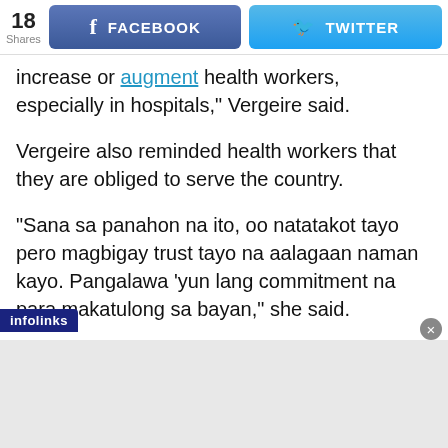[Figure (screenshot): Social share bar showing 18 Shares, Facebook button, and Twitter button]
increase or augment health workers, especially in hospitals,” Vergeire said.
Vergeire also reminded health workers that they are obliged to serve the country.
“Sana sa panahon na ito, oo natatakot tayo pero magbigay trust tayo na aalagaan naman kayo. Pangalawa ‘yun lang commitment na para makatulong sa bayan,” she said.
infolinks